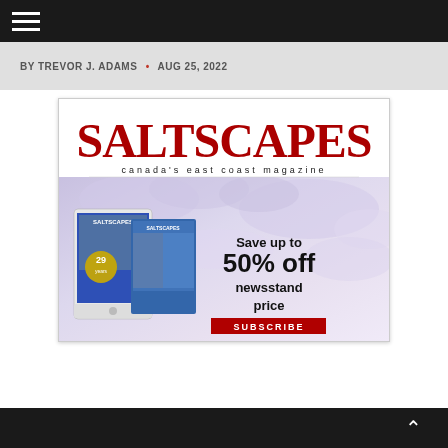BY TREVOR J. ADAMS • AUG 25, 2022
[Figure (illustration): Saltscapes magazine advertisement showing the magazine logo in dark red serif font, subtitle 'canada's east coast magazine', two magazine covers on the left (one on a tablet showing '29 years'), sky background with purple/blue clouds, text 'Save up to 50% off newsstand price' and a red SUBSCRIBE button.]
↑